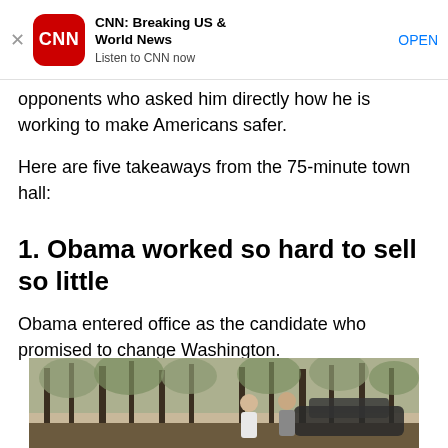[Figure (screenshot): CNN app advertisement banner with CNN red logo icon, title 'CNN: Breaking US & World News', subtitle 'Listen to CNN now', and OPEN button. Dismiss X on the left.]
opponents who asked him directly how he is working to make Americans safer.
Here are five takeaways from the 75-minute town hall:
1. Obama worked so hard to sell so little
Obama entered office as the candidate who promised to change Washington.
[Figure (photo): Photo of two people standing near a car in an autumn forest with trees in the background.]